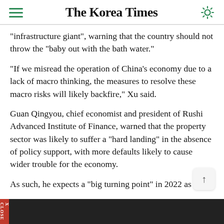The Korea Times
"infrastructure giant", warning that the country should not throw the "baby out with the bath water."
"If we misread the operation of China's economy due to a lack of macro thinking, the measures to resolve these macro risks will likely backfire," Xu said.
Guan Qingyou, chief economist and president of Rushi Advanced Institute of Finance, warned that the property sector was likely to suffer a "hard landing" in the absence of policy support, with more defaults likely to cause wider trouble for the economy.
As such, he expects a "big turning point" in 2022 as